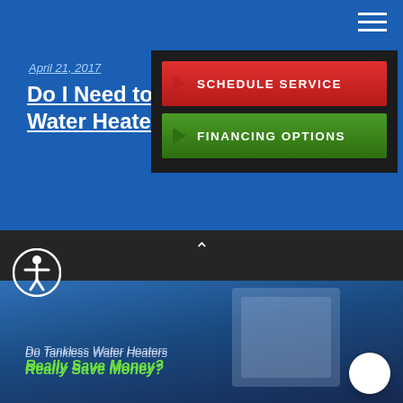[Figure (screenshot): Top navigation bar with hamburger menu icon on blue background]
April 21, 2017
Do I Need to D... Water Heater?
[Figure (screenshot): Dropdown navigation panel with Schedule Service (red button) and Financing Options (green button)]
[Figure (screenshot): Bottom section showing a water heater photo with text overlay: Do Tankless Water Heaters Really Save Money?]
Do Tankless Water Heaters Really Save Money?